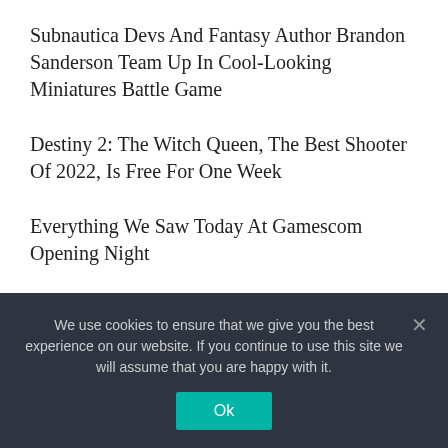Subnautica Devs And Fantasy Author Brandon Sanderson Team Up In Cool-Looking Miniatures Battle Game
Destiny 2: The Witch Queen, The Best Shooter Of 2022, Is Free For One Week
Everything We Saw Today At Gamescom Opening Night
Dead Island 2 Is Finally Coming After A Decade Of Development Hell
RECENT COMMENTS
We use cookies to ensure that we give you the best experience on our website. If you continue to use this site we will assume that you are happy with it.